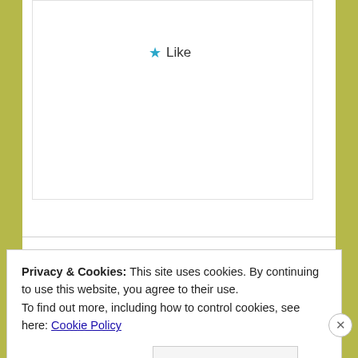[Figure (other): Like button with teal star icon and 'Like' text]
[Figure (infographic): Advertisements bar showing purple, teal and orange colored segments]
Advertisements
[Figure (other): Author signature graphic (Khurt handwriting style)]
KHÜRT WILLIAMS
Privacy & Cookies: This site uses cookies. By continuing to use this website, you agree to their use.
To find out more, including how to control cookies, see here: Cookie Policy
Close and accept